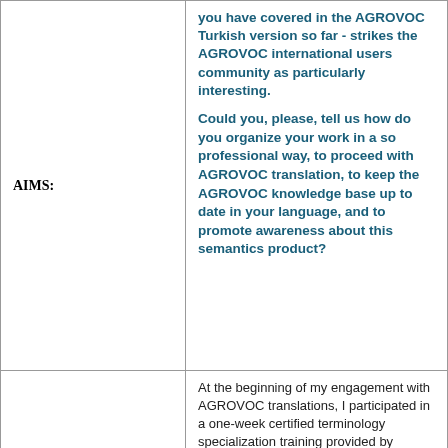you have covered in the AGROVOC Turkish version so far - strikes the AGROVOC international users community as particularly interesting.
AIMS:
Could you, please, tell us how do you organize your work in a so professional way, to proceed with AGROVOC translation, to keep the AGROVOC knowledge base up to date in your language, and to promote awareness about this semantics product?
At the beginning of my engagement with AGROVOC translations, I participated in a one-week certified terminology specialization training provided by Hacettepe University Terminology Research Center. At the meantime, I studied how